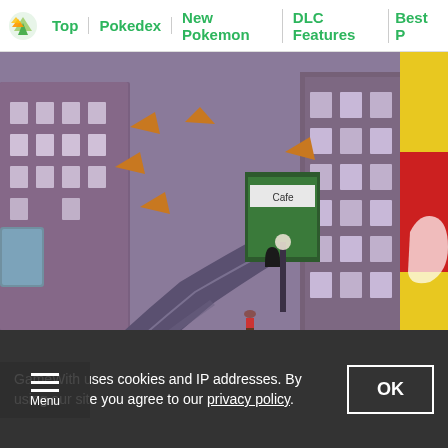Top | Pokedex | New Pokemon | DLC Features | Best P
[Figure (screenshot): In-game screenshot from Pokemon showing a city street (Wyndon) with characters walking along a curved road flanked by purple/brown buildings and decorative banners. A red and yellow store front is visible on the right edge.]
When you reach the Wyndon Pokemon Center in the plaza, head towards the west road. You'll find the Battle Cafe on the right side of the street.
GameWith uses cookies and IP addresses. By using our site you agree to our privacy policy.